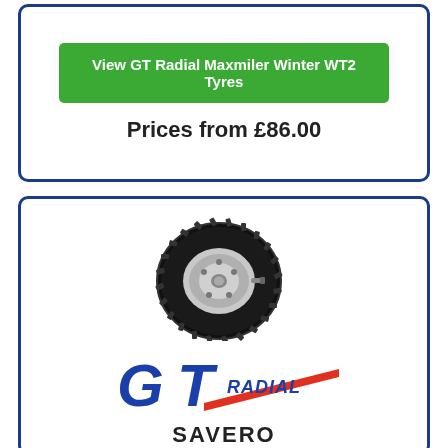View GT Radial Maxmiler Winter WT2 Tyres
Prices from £86.00
[Figure (photo): GT Radial tyre on a silver wheel rim, viewed from a 3/4 angle]
[Figure (logo): GT Radial brand logo with blue GT letters and red diagonal stripe with RADIAL text]
SAVERO